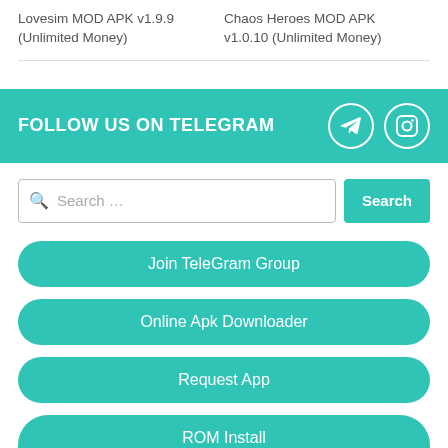Lovesim MOD APK v1.9.9 (Unlimited Money)
Chaos Heroes MOD APK v1.0.10 (Unlimited Money)
FOLLOW US ON TELEGRAM
[Figure (other): Telegram icon (paper plane) in white circle outline]
[Figure (other): Instagram icon in white circle outline]
Search …
Search
Join TeleGram Group
Online Apk Downloader
Request App
ROM Install